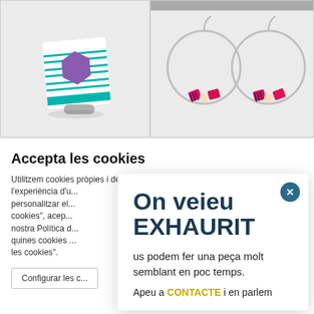[Figure (photo): Product photo of a square ring with purple hexagon design on teal chevron patterned fimo clay, silver band, on white background]
[Figure (photo): Product photo of silver hoop earrings with striped pink and multicolor rectangular fimo clay beads, on white background with grey bar at top]
Accepta les cookies
Utilitzem cookies pròpies i de tercers per millorar l'experiència d'u... personalitzar el... cookies", acep... nostra Política d... quines cookies ... les cookies".
Configurar les c...
On veieu
EXHAURIT
us podem fer una peça molt semblant en poc temps.
Apeu a CONTACTE i en parlem